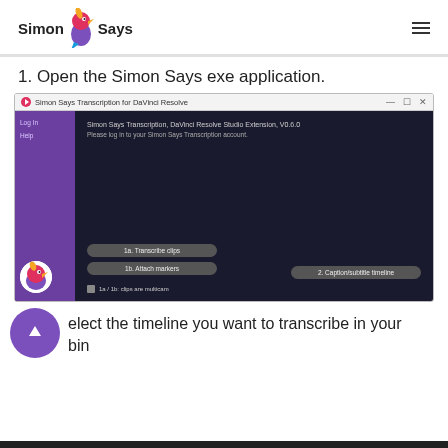Simon Says (logo with bird icon) [hamburger menu]
1. Open the Simon Says exe application.
[Figure (screenshot): Screenshot of the Simon Says Transcription for DaVinci Resolve application window. Shows a dark-themed UI with a purple sidebar containing 'Log In' and 'Help' links, and a main area showing 'Simon Says Transcription, DaVinci Resolve Studio Extension, V0.6.0' and 'Please log in to your Simon Says Transcription account.' with buttons: '1a. Transcribe clips', '1b. Attach markers', '2. Caption/subtitle timeline', and a checkbox '1a / 1b: clips are multicam'.]
elect the timeline you want to transcribe in your bin